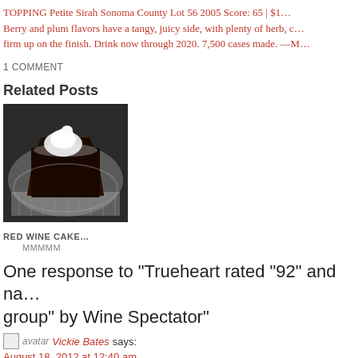TOPPING Petite Sirah Sonoma County Lot 56 2005 Score: 65 | $1... Berry and plum flavors have a tangy, juicy side, with plenty of herb, c... firm up on the finish. Drink now through 2020. 7,500 cases made. —M...
1 COMMENT
Related Posts
[Figure (photo): A slice of dark chocolate red wine cake on a plate with a dollop of whipped cream, on a striped cloth.]
RED WINE CAKE…
MMMMM
One response to "Trueheart rated "92" and na... group" by Wine Spectator"
avatar Vickie Bates says:
August 18, 2012 at 12:40 am